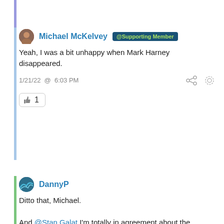Michael McKelvey @Supporting Member
Yeah, I was a bit unhappy when Mark Harney disappeared.
1/21/22 @ 6:03 PM
[like 1]
DannyP
Ditto that, Michael.

And @Stan Galat I'm totally in agreement about the CB/Tomlinson books. John Connolly really knows his way around Webers and I learned quite a lot reading his comments on thesamba.com.  Mark Harney was a treasure to learn from as well. There are a lot of good